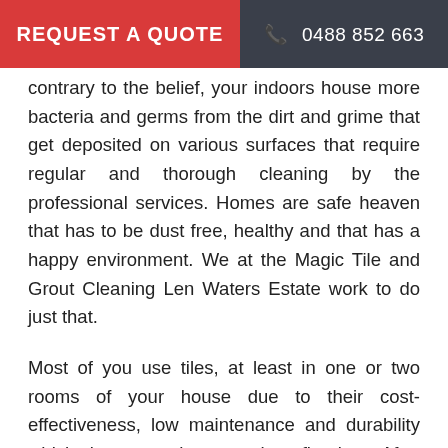REQUEST A QUOTE   📞 0488 852 663
contrary to the belief, your indoors house more bacteria and germs from the dirt and grime that get deposited on various surfaces that require regular and thorough cleaning by the professional services. Homes are safe heaven that has to be dust free, healthy and that has a happy environment. We at the Magic Tile and Grout Cleaning Len Waters Estate work to do just that.
Most of you use tiles, at least in one or two rooms of your house due to their cost-effectiveness, low maintenance and durability which is more than another flooring. After installation, leaving the tiles and grout unsealed will pave way for permanent stains due to food or beverages spill. Despite sealing the tiles, they